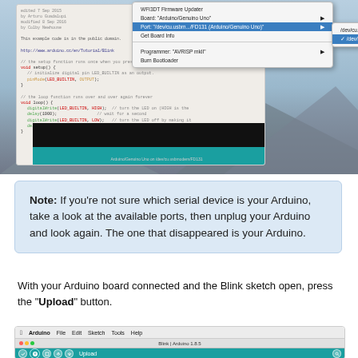[Figure (screenshot): Arduino IDE screenshot showing Tools menu open with Port submenu, selecting /dev/cu.usbmodem/FD131 (Arduino/Genuino Uno). Code editor shows Blink sketch in background with mountain/sky desktop background.]
Note: If you're not sure which serial device is your Arduino, take a look at the available ports, then unplug your Arduino and look again. The one that disappeared is your Arduino.
With your Arduino board connected and the Blink sketch open, press the "Upload" button.
[Figure (screenshot): Arduino IDE menu bar showing Arduino app menus (File, Edit, Sketch, Tools, Help) and window with title 'Blink | Arduino 1.8.5' and teal toolbar with Upload button.]